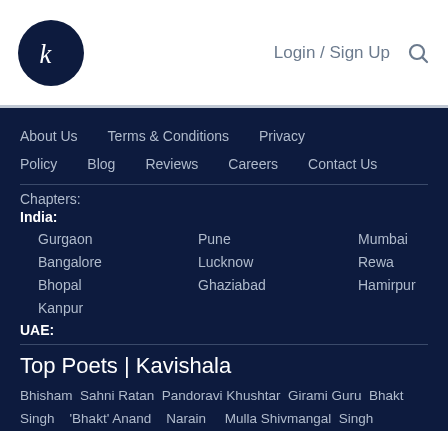Kavishala — Login / Sign Up
About Us   Terms & Conditions   Privacy Policy   Blog   Reviews   Careers   Contact Us
Chapters:
India:
Gurgaon
Pune
Mumbai
Hyderabad
Bangalore
Lucknow
Rewa
Indore
Bhopal
Ghaziabad
Hamirpur
Dehradoon
Kanpur
UAE:
Top Poets | Kavishala
Bhisham Sahni Ratan Pandoravi Khushtar Girami Guru Bhakt Singh 'Bhakt' Anand Narain Mulla Shivmangal Singh